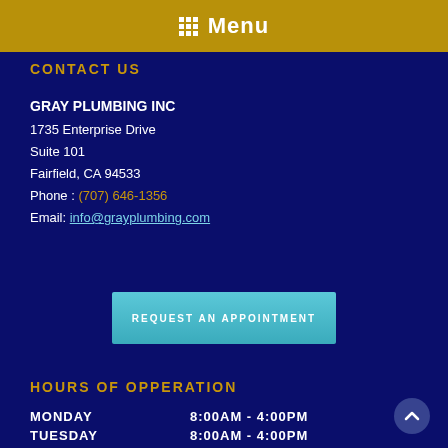Menu
CONTACT US
GRAY PLUMBING INC
1735 Enterprise Drive
Suite 101
Fairfield, CA 94533
Phone : (707) 646-1356
Email: info@grayplumbing.com
REQUEST AN APPOINTMENT
HOURS OF OPPERATION
MONDAY     8:00AM - 4:00PM
TUESDAY    8:00AM - 4:00PM
WEDNESDAY  8:00AM - 4:00PM